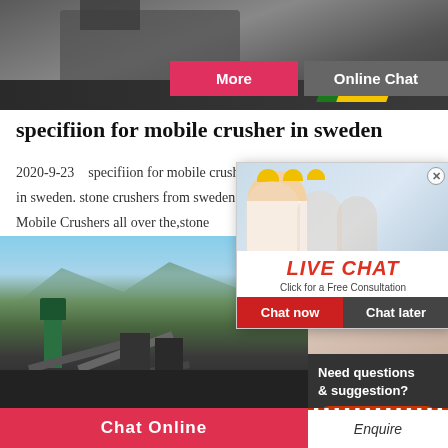[Figure (photo): Top image showing industrial/construction equipment with yellow/green floor striping]
More
Online Chat
specifiion for mobile crusher in sweden
2020-9-23    specifiion for mobile crusher in sweden. stone crushers from sweden Mobile Crushers all over the,stone crushers from … the design ma…
[Figure (photo): Live Chat popup overlay with workers in yellow hard hats, LIVE CHAT heading, Click for a Free Consultation subtext, Chat now and Chat later buttons]
hrs Online
[Figure (photo): Bottom image showing mobile crusher/mining site with mountains and industrial equipment]
[Figure (photo): Right sidebar photo of woman with customer service headset]
Need questions & suggestion?
Chat Now
Chat Online
Enquire